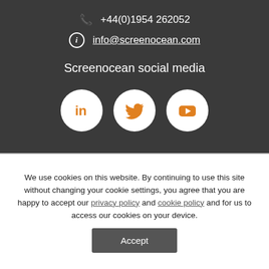+44(0)1954 262052
info@screenocean.com
Screenocean social media
[Figure (illustration): Three social media icon circles: LinkedIn, Twitter, YouTube in orange on white circles]
© Copyright Screenocean 2021 | Powered by Imagen
We use cookies on this website. By continuing to use this site without changing your cookie settings, you agree that you are happy to accept our privacy policy and cookie policy and for us to access our cookies on your device.
Accept